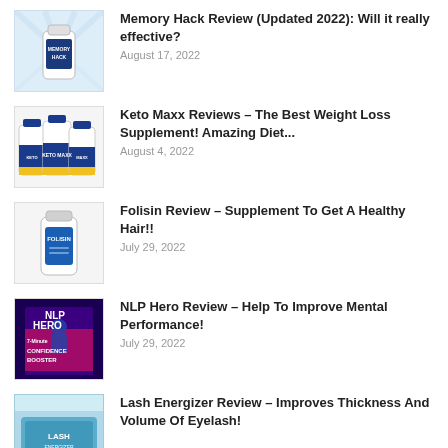Memory Hack Review (Updated 2022): Will it really effective? — August 17, 2022
Keto Maxx Reviews – The Best Weight Loss Supplement! Amazing Diet... — August 4, 2022
Folisin Review – Supplement To Get A Healthy Hair!! — July 29, 2022
NLP Hero Review – Help To Improve Mental Performance! — July 29, 2022
Lash Energizer Review – Improves Thickness And Volume Of Eyelash!